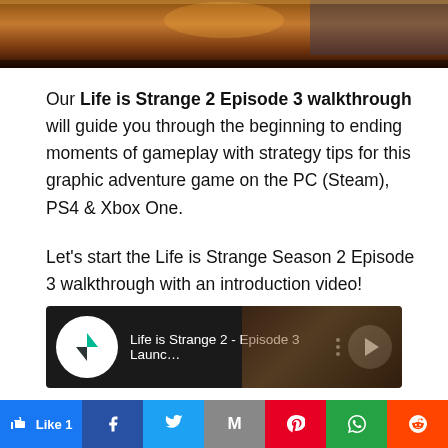[Figure (screenshot): Top portion of a game screenshot from Life is Strange 2 Episode 3, showing a dark outdoor scene with warm fire tones]
Our Life is Strange 2 Episode 3 walkthrough will guide you through the beginning to ending moments of gameplay with strategy tips for this graphic adventure game on the PC (Steam), PS4 & Xbox One.
Let's start the Life is Strange Season 2 Episode 3 walkthrough with an introduction video!
[Figure (screenshot): YouTube video thumbnail showing Life is Strange 2 - Episode 3 Launc... with channel logo and play button]
Like 1
Facebook share
Twitter share
Gmail share
Pinterest share
WhatsApp share
Reddit share